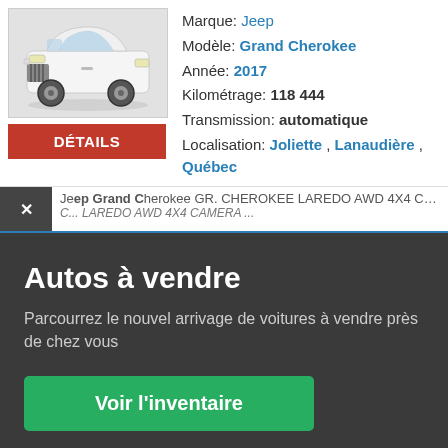[Figure (photo): White Jeep Grand Cherokee front three-quarter view on grey background]
Marque: Jeep
Modèle: Grand Cherokee
Année: 2017
Kilométrage: 118 444
Transmission: automatique
Localisation: Joliette , Lanaudière , Québec
DÉTAILS
Jeep Grand Cherokee GR. CHEROKEE LAREDO AWD 4X4 CAMERA BLUETOOTH ... LAREDO AWD 4X4 CAMERA ...
Autos à vendre
Parcourrez le nouvel arrivage de voitures à vendre près de chez vous
Voir l'inventaire